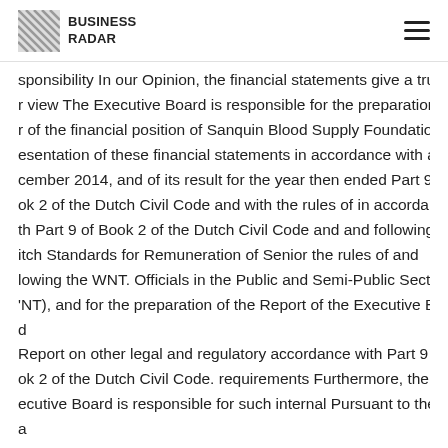BUSINESS RADAR
sponsibility In our Opinion, the financial statements give a true ar r view The Executive Board is responsible for the preparation and r of the financial position of Sanquin Blood Supply Foundation as esentation of these financial statements in accordance with at 31 cember 2014, and of its result for the year then ended Part 9 of ok 2 of the Dutch Civil Code and with the rules of in accordance th Part 9 of Book 2 of the Dutch Civil Code and and following the itch Standards for Remuneration of Senior the rules of and lowing the WNT. Officials in the Public and Semi-Public Sector Act 'NT), and for the preparation of the Report of the Executive Board Report on other legal and regulatory accordance with Part 9 of ok 2 of the Dutch Civil Code. requirements Furthermore, the ecutive Board is responsible for such internal Pursuant to the lega quirement under Section 2: 393 sub 5 control as it determines is cessary to enable the preparation at e and f of the Dutch Civil Co s have no deficiencies to of the financial statements free from aterial misstatement, report as a result of our examination wheth